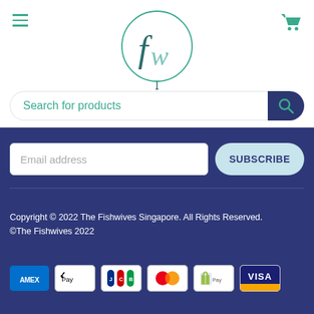[Figure (logo): fw circular logo with teal lettering inside a circle]
Search for products
Email address
SUBSCRIBE
Copyright © 2022 The Fishwives Singapore. All Rights Reserved.
©The Fishwives 2022
[Figure (infographic): Payment method icons: American Express, Apple Pay, JCB, Mastercard, Shopify Pay, Visa]